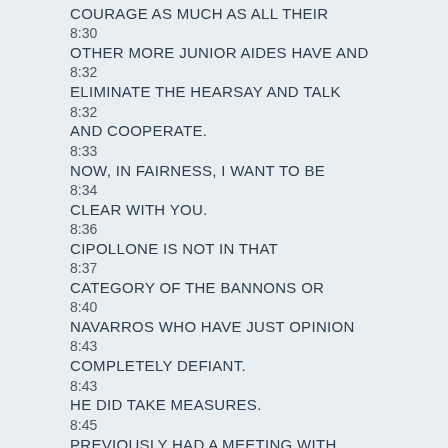COURAGE AS MUCH AS ALL THEIR
8:30
OTHER MORE JUNIOR AIDES HAVE AND
8:32
ELIMINATE THE HEARSAY AND TALK
8:32
AND COOPERATE.
8:33
NOW, IN FAIRNESS, I WANT TO BE
8:34
CLEAR WITH YOU.
8:36
CIPOLLONE IS NOT IN THAT
8:37
CATEGORY OF THE BANNONS OR
8:40
NAVARROS WHO HAVE JUST OPINION
8:43
COMPLETELY DEFIANT.
8:43
HE DID TAKE MEASURES.
8:45
PREVIOUSLY HAD A MEETING WITH
8:46
THE COMMITTEE BUT NOT UNDER